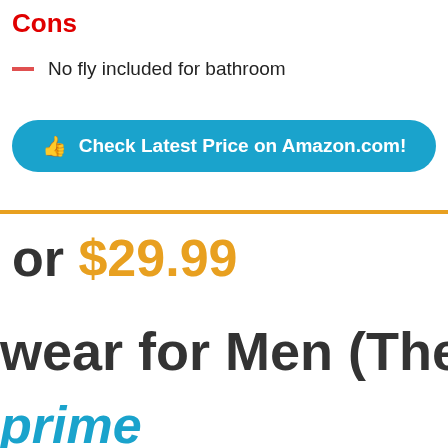Cons
No fly included for bathroom
Check Latest Price on Amazon.com!
or $29.99
wear for Men (The
prime